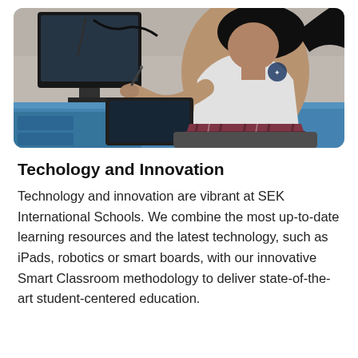[Figure (photo): A student in a white school uniform shirt and plaid skirt sitting at a blue desk, using a stylus on a graphics tablet connected to a computer monitor]
Techology and Innovation
Technology and innovation are vibrant at SEK International Schools. We combine the most up-to-date learning resources and the latest technology, such as iPads, robotics or smart boards, with our innovative Smart Classroom methodology to deliver state-of-the-art student-centered education.